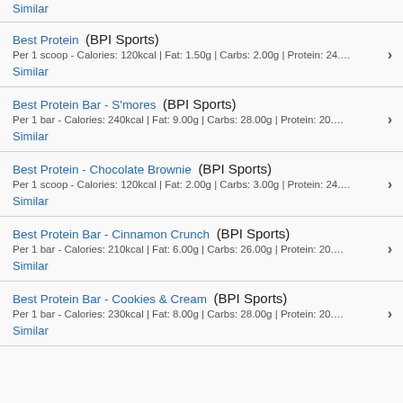Similar
Best Protein (BPI Sports)
Per 1 scoop - Calories: 120kcal | Fat: 1.50g | Carbs: 2.00g | Protein: 24...
Similar
Best Protein Bar - S'mores (BPI Sports)
Per 1 bar - Calories: 240kcal | Fat: 9.00g | Carbs: 28.00g | Protein: 20....
Similar
Best Protein - Chocolate Brownie (BPI Sports)
Per 1 scoop - Calories: 120kcal | Fat: 2.00g | Carbs: 3.00g | Protein: 24...
Similar
Best Protein Bar - Cinnamon Crunch (BPI Sports)
Per 1 bar - Calories: 210kcal | Fat: 6.00g | Carbs: 26.00g | Protein: 20....
Similar
Best Protein Bar - Cookies & Cream (BPI Sports)
Per 1 bar - Calories: 230kcal | Fat: 8.00g | Carbs: 28.00g | Protein: 20....
Similar